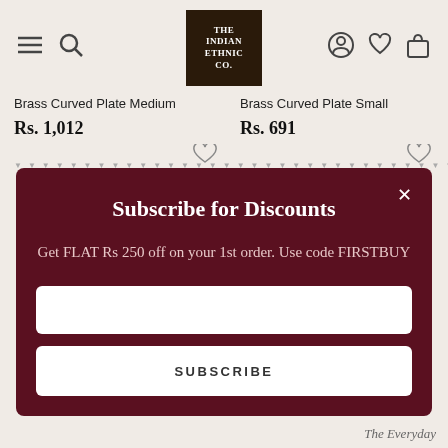[Figure (logo): The Indian Ethnic Co. logo — dark square with white serif text]
Brass Curved Plate Medium
Rs. 1,012
Brass Curved Plate Small
Rs. 691
Subscribe for Discounts
Get FLAT Rs 250 off on your 1st order. Use code FIRSTBUY
SUBSCRIBE
The Everyday